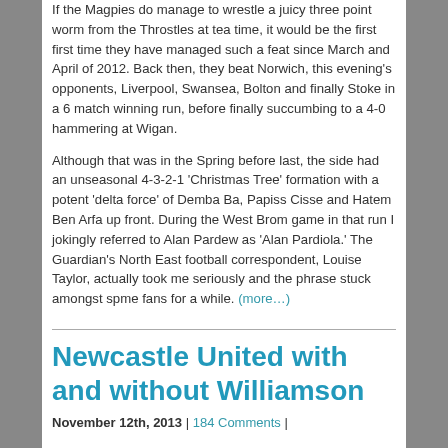If the Magpies do manage to wrestle a juicy three point worm from the Throstles at tea time, it would be the first first time they have managed such a feat since March and April of 2012. Back then, they beat Norwich, this evening's opponents, Liverpool, Swansea, Bolton and finally Stoke in a 6 match winning run, before finally succumbing to a 4-0 hammering at Wigan.
Although that was in the Spring before last, the side had an unseasonal 4-3-2-1 'Christmas Tree' formation with a potent 'delta force' of Demba Ba, Papiss Cisse and Hatem Ben Arfa up front. During the West Brom game in that run I jokingly referred to Alan Pardew as 'Alan Pardiola.' The Guardian's North East football correspondent, Louise Taylor, actually took me seriously and the phrase stuck amongst spme fans for a while. (more…)
Newcastle United with and without Williamson
November 12th, 2013 | 184 Comments |